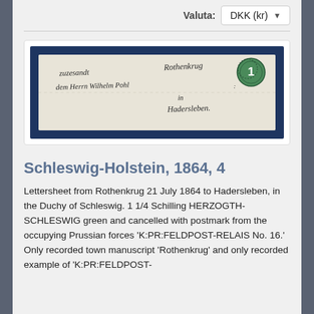Valuta: DKK (kr)
[Figure (photo): Lettersheet from Rothenkrug showing handwritten address in German script, with a green 1 Schilling HERZOGTH-SCHLESWIG stamp in the upper right corner, mounted on dark navy blue mat, displayed on white card background.]
Schleswig-Holstein, 1864, 4
Lettersheet from Rothenkrug 21 July 1864 to Hadersleben, in the Duchy of Schleswig. 1 1/4 Schilling HERZOGTH-SCHLESWIG green and cancelled with postmark from the occupying Prussian forces 'K:PR:FELDPOST-RELAIS No. 16.' Only recorded town manuscript 'Rothenkrug' and only recorded example of 'K:PR:FELDPOST-